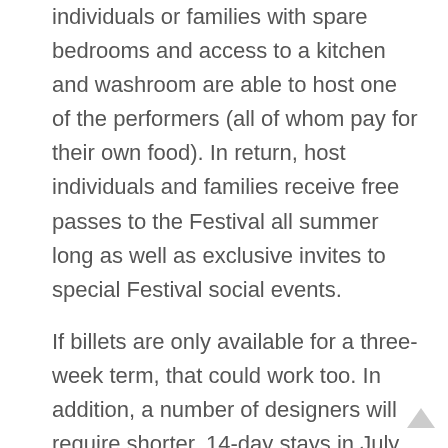individuals or families with spare bedrooms and access to a kitchen and washroom are able to host one of the performers (all of whom pay for their own food). In return, host individuals and families receive free passes to the Festival all summer long as well as exclusive invites to special Festival social events.
If billets are only available for a three-week term, that could work too. In addition, a number of designers will require shorter, 14-day stays in July and August.
For Perth resident Helen Gamble, 2015 marks the 7th consecutive year she has hosted a performer.
“I’ve billeted at least one actress each year of the Classic Theatre Festival in Perth,” Gamble says.  “At first I wondered how it would work out and whether my guest room was adequate. It’s been a wonderful experience. I meet interesting, artistic people who are passionate about what